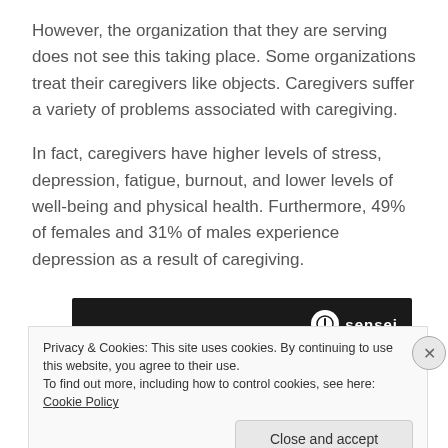However, the organization that they are serving does not see this taking place.  Some organizations treat their caregivers like objects.  Caregivers suffer a variety of problems associated with caregiving.
In fact, caregivers have higher levels of stress, depression, fatigue, burnout, and lower levels of well-being and physical health.  Furthermore, 49% of females and 31% of males experience depression as a result of caregiving.
[Figure (screenshot): Dark banner with sensei logo on the right]
Privacy & Cookies: This site uses cookies. By continuing to use this website, you agree to their use.
To find out more, including how to control cookies, see here: Cookie Policy
Close and accept